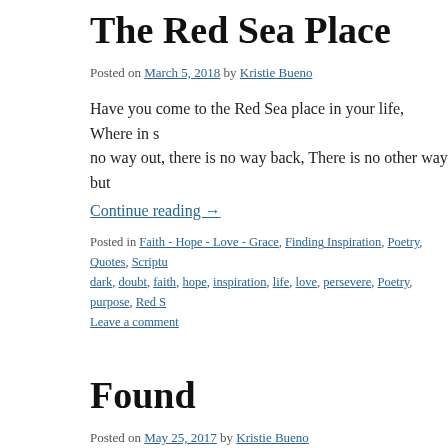The Red Sea Place
Posted on March 5, 2018 by Kristie Bueno
Have you come to the Red Sea place in your life, Where in s no way out, there is no way back, There is no other way but
Continue reading →
Posted in Faith - Hope - Love - Grace, Finding Inspiration, Poetry, Quotes, Scriptu dark, doubt, faith, hope, inspiration, life, love, persevere, Poetry, purpose, Red S Leave a comment
Found
Posted on May 25, 2017 by Kristie Bueno
"What is the voice of strange command Calling you still, as that cannot brook delay, To rise and follow the ways that w ~ William Ernest Henley You could … Continue reading →
Posted in Tidbits from my past... | Tagged calling, chances, direction, encouragem Leave a comment